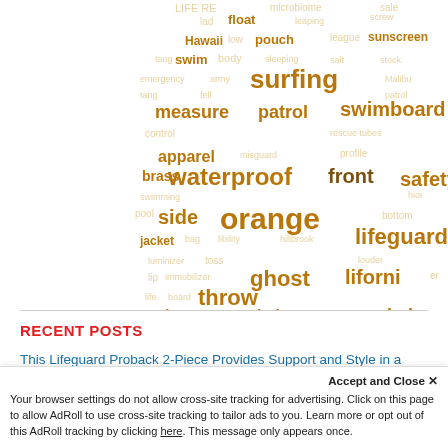[Figure (infographic): Word cloud with beach/lifeguard related terms in shades of brown/orange. Words include: lifeguarding, waterproof, orange, surfing, safety, ghost, throw, recycled, chairs, gloves, hoodie, swimsuit, Hawaii, sunscreen, patrol, apparel, brass, Florida, Burbank, mask, up, side, bottom, pool, emergency, can, discounts, wallets, front, keychain, profile, tubes, immobilizer, lifeguard, step, bag, rack, chair, tally, pin, guard, misguard, lad, float, pouch, low, swim, body, leaping, salt, measure, patrol, control, swimboard, jacket]
RECENT POSTS
This Lifeguard Proback 2-Piece Provides Support and Style in a Lifeguard Uniform!
This Low Profile Two Piece Bottom is Ideal for Lifeguards or Any Aquatic Professional
Accept and Close ✕
Your browser settings do not allow cross-site tracking for advertising. Click on this page to allow AdRoll to use cross-site tracking to tailor ads to you. Learn more or opt out of this AdRoll tracking by clicking here. This message only appears once.